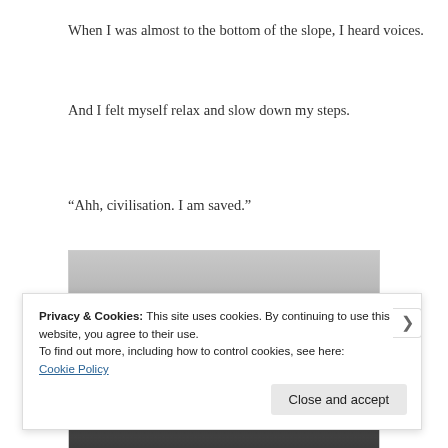When I was almost to the bottom of the slope, I heard voices.
And I felt myself relax and slow down my steps.
“Ahh, civilisation. I am saved.”
[Figure (photo): Black and white photograph of a snowy winter landscape with bare trees and low terrain under an overcast sky]
Privacy & Cookies: This site uses cookies. By continuing to use this website, you agree to their use.
To find out more, including how to control cookies, see here: Cookie Policy